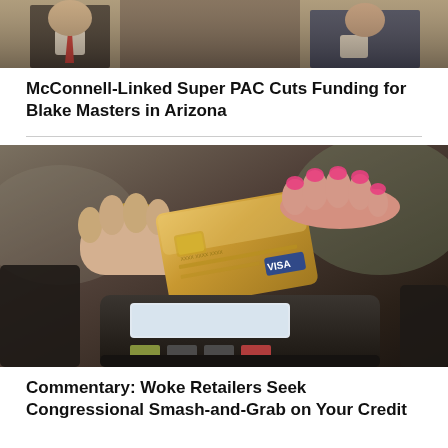[Figure (photo): Two politicians in suits, one wearing a red tie, partial view of faces and upper bodies]
McConnell-Linked Super PAC Cuts Funding for Blake Masters in Arizona
[Figure (photo): Person handing a gold Visa credit card to another person over a payment terminal/card reader]
Commentary: Woke Retailers Seek Congressional Smash-and-Grab on Your Credit Card